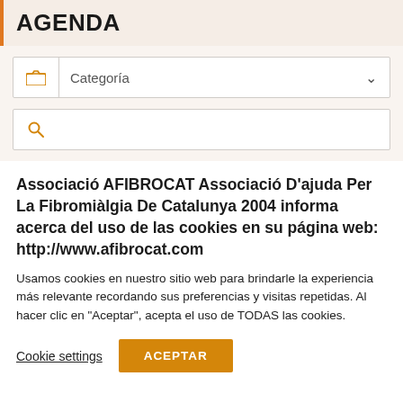AGENDA
Categoría
(search box)
Associació AFIBROCAT Associació D'ajuda Per La Fibromiàlgia De Catalunya 2004 informa acerca del uso de las cookies en su página web: http://www.afibrocat.com
Usamos cookies en nuestro sitio web para brindarle la experiencia más relevante recordando sus preferencias y visitas repetidas. Al hacer clic en "Aceptar", acepta el uso de TODAS las cookies.
Cookie settings
ACEPTAR